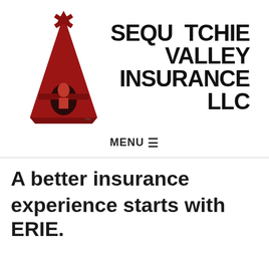[Figure (logo): Sequatchie Valley Insurance LLC logo with a red teepee/triangle graphic on the left and bold black text reading SEQUATCHIE VALLEY INSURANCE LLC with a TM mark]
MENU ≡
A better insurance experience starts with ERIE.